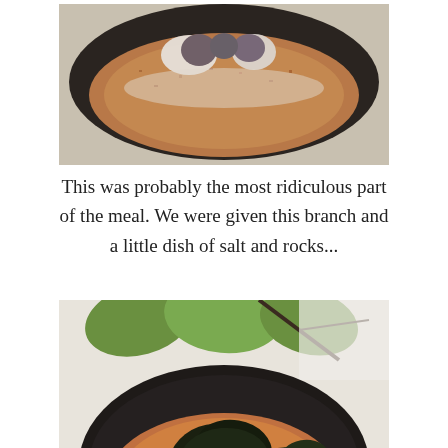[Figure (photo): Top portion of a food dish in a dark pan, showing a brown crumbled base with white cream/snow-like topping and dark round elements]
This was probably the most ridiculous part of the meal. We were given this branch and a little dish of salt and rocks...
[Figure (photo): A dark cast iron pan containing a dish with a brown crumbled base, white foamy/cream topping, dark nettle leaves in the center, and small round items visible under the leaves. Green leaves visible in background.]
And then the nettle leaves in the middle opened to reveal